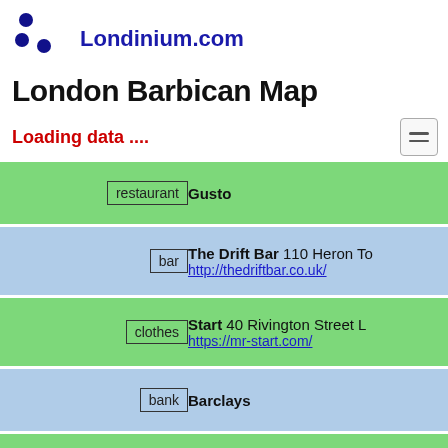Londinium.com
London Barbican Map
Loading data ....
| type | name/info |
| --- | --- |
| restaurant | Gusto |
| bar | The Drift Bar 110 Heron To
http://thedriftbar.co.uk/ |
| clothes | Start 40 Rivington Street L
https://mr-start.com/ |
| bank | Barclays |
| estate_agent | Stirling Ackroyd |
|  |  |